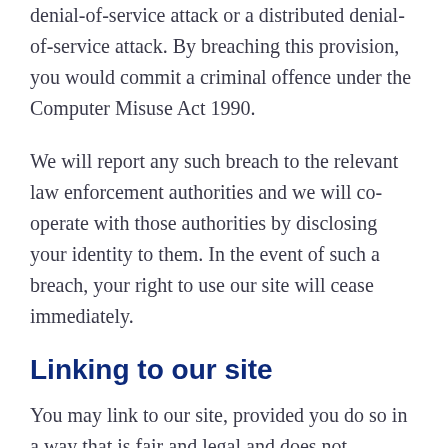denial-of-service attack or a distributed denial-of-service attack. By breaching this provision, you would commit a criminal offence under the Computer Misuse Act 1990.
We will report any such breach to the relevant law enforcement authorities and we will co-operate with those authorities by disclosing your identity to them. In the event of such a breach, your right to use our site will cease immediately.
Linking to our site
You may link to our site, provided you do so in a way that is fair and legal and does not